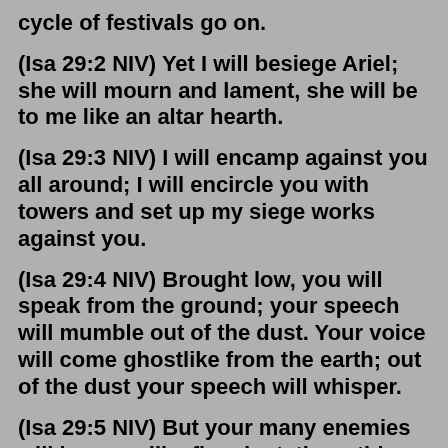cycle of festivals go on.
(Isa 29:2 NIV) Yet I will besiege Ariel; she will mourn and lament, she will be to me like an altar hearth.
(Isa 29:3 NIV) I will encamp against you all around; I will encircle you with towers and set up my siege works against you.
(Isa 29:4 NIV) Brought low, you will speak from the ground; your speech will mumble out of the dust. Your voice will come ghostlike from the earth; out of the dust your speech will whisper.
(Isa 29:5 NIV) But your many enemies will become like fine dust, the ruthless